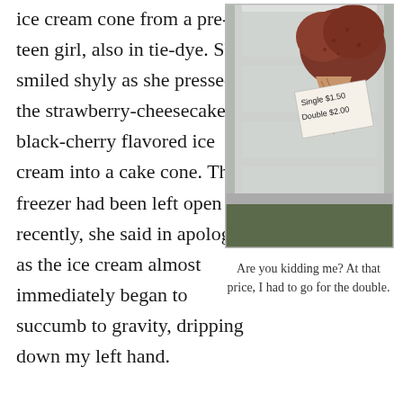ice cream cone from a pre-teen girl, also in tie-dye. She smiled shyly as she pressed the strawberry-cheesecake and black-cherry flavored ice cream into a cake cone. The freezer had been left open recently, she said in apology, as the ice cream almost immediately began to succumb to gravity, dripping down my left hand.
[Figure (photo): Photo of an ice cream cone with a handwritten price sign reading 'Single $1.50 Double $2.00']
Are you kidding me? At that price, I had to go for the double.